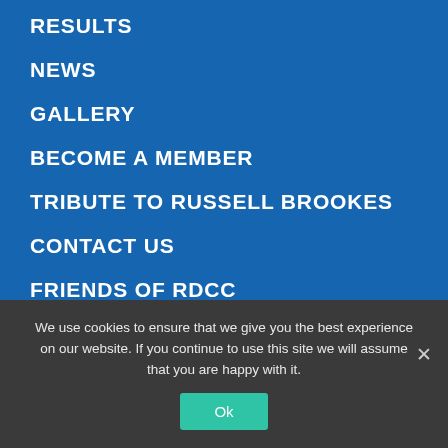RESULTS
NEWS
GALLERY
BECOME A MEMBER
TRIBUTE TO RUSSELL BROOKES
CONTACT US
FRIENDS OF RDCC
RDCC ARE SUPPORTED BY:
[Figure (logo): AIM logo in white on blue background]
We use cookies to ensure that we give you the best experience on our website. If you continue to use this site we will assume that you are happy with it.